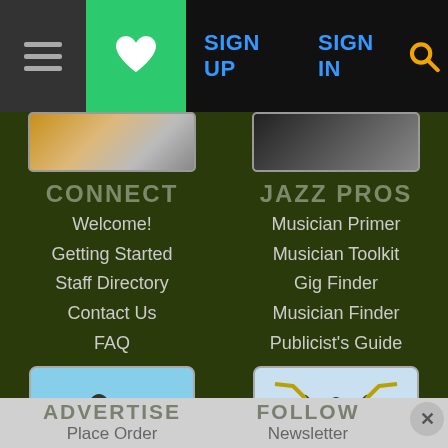Navigation bar with hamburger menu, favorites (heart) button, SIGN UP, SIGN IN, and search icon
[Figure (screenshot): Partial image top-left: yellow and grey clothing/figures]
[Figure (screenshot): Partial image top-right: dark image with figures]
CONNECT
Welcome!
Getting Started
Staff Directory
Contact Us
FAQ
JAZZ PROS
Musician Primer
Musician Toolkit
Gig Finder
Musician Finder
Publicist's Guide
[Figure (photo): Man in suit with red megaphone/bullhorn on green lawn against blue sky]
[Figure (photo): Musician raising trombone above crowd at outdoor concert]
ADVERTISE
FOLLOW
Place Order
Newsletter